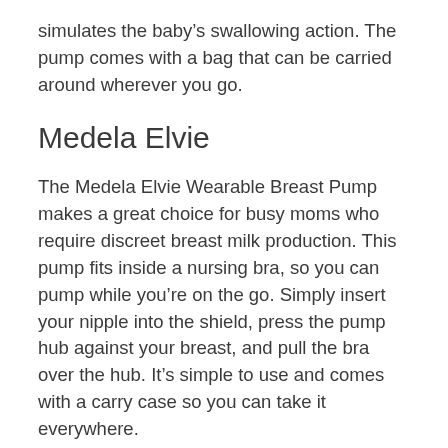simulates the baby's swallowing action. The pump comes with a bag that can be carried around wherever you go.
Medela Elvie
The Medela Elvie Wearable Breast Pump makes a great choice for busy moms who require discreet breast milk production. This pump fits inside a nursing bra, so you can pump while you're on the go. Simply insert your nipple into the shield, press the pump hub against your breast, and pull the bra over the hub. It's simple to use and comes with a carry case so you can take it everywhere.
The Elvie is designed to be easy to use. The pump mechanism is dishwasher safe, except for